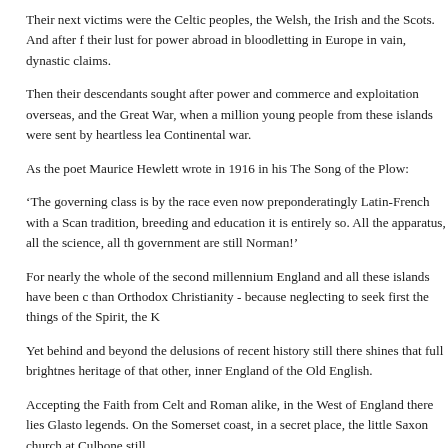Their next victims were the Celtic peoples, the Welsh, the Irish and the Scots. And after their lust for power abroad in bloodletting in Europe in vain, dynastic claims.
Then their descendants sought after power and commerce and exploitation overseas, and the Great War, when a million young people from these islands were sent by heartless leaders to die in a Continental war.
As the poet Maurice Hewlett wrote in 1916 in his The Song of the Plow:
‘The governing class is by the race even now preponderatingly Latin-French with a Scan- tradition, breeding and education it is entirely so. All the apparatus, all the science, all the government are still Norman!’
For nearly the whole of the second millennium England and all these islands have been controlled than Orthodox Christianity - because neglecting to seek first the things of the Spirit, the K
Yet behind and beyond the delusions of recent history still there shines that full brightness heritage of that other, inner England of the Old English.
Accepting the Faith from Celt and Roman alike, in the West of England there lies Glasto- legends. On the Somerset coast, in a secret place, the little Saxon church at Culbone still
In the North, Holy Island and the traditions of St Cuthbert are called to mind in the church Durham. And in the East there is Canterbury, the Mother-City of English Christianity, wh in the church at Bradwell, which the Apostle of Essex, St Cedd, built down by the sea.
For underneath the outer England with all its illusions that the Normans brought and imp another Christianity, still continued in the East, though cruelly harassed and at times dis